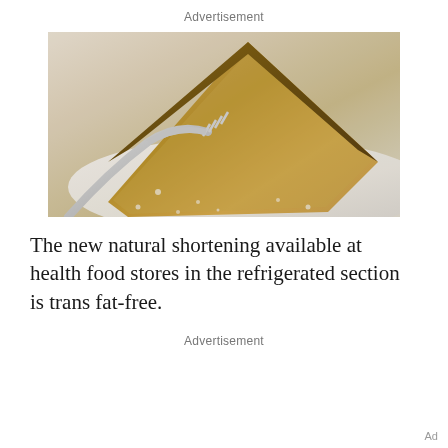Advertisement
[Figure (photo): A slice of pie on a white plate with a fork, dusted with powdered sugar or crumbs, close-up food photograph]
The new natural shortening available at health food stores in the refrigerated section is trans fat-free.
Advertisement
Ad